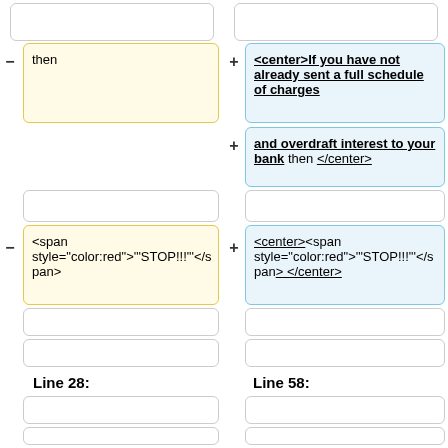then (yellow cell, left column, row 1)
<center>If you have not already sent a full schedule of charges (blue cell, right column, row 1)
and overdraft interest to your bank then </center> (blue cell, right column, row 2)
<span style="color:red">"STOP!!!"</s pan> (yellow cell, left column, row 3)
<center><span style="color:red">"STOP!!!"</s pan> </center> (blue cell, right column, row 3)
Line 28:
Line 58: